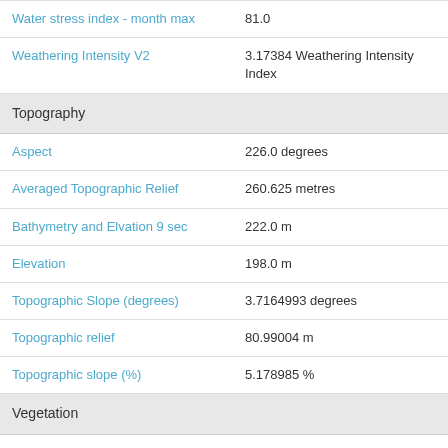| Property | Value |
| --- | --- |
| Water stress index - month max | 81.0 |
| Weathering Intensity V2 | 3.17384 Weathering Intensity Index |
| Topography |  |
| Aspect | 226.0 degrees |
| Averaged Topographic Relief | 260.625 metres |
| Bathymetry and Elvation 9 sec | 222.0 m |
| Elevation | 198.0 m |
| Topographic Slope (degrees) | 3.7164993 degrees |
| Topographic relief | 80.99004 m |
| Topographic slope (%) | 5.178985 % |
| Vegetation |  |
| Enhanced Vegetation Index (2012-03-05) | 0.3493 EVI |
| Fraction of Photosynthetically Active Radiation (fPAR) | 81.0 % |